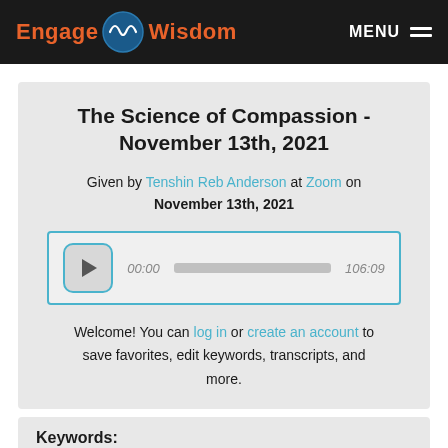Engage Wisdom — MENU
The Science of Compassion - November 13th, 2021
Given by Tenshin Reb Anderson at Zoom on November 13th, 2021
[Figure (other): Audio player widget showing 00:00 start time and 106:09 total duration with a play button and progress bar]
Welcome! You can log in or create an account to save favorites, edit keywords, transcripts, and more.
Keywords: